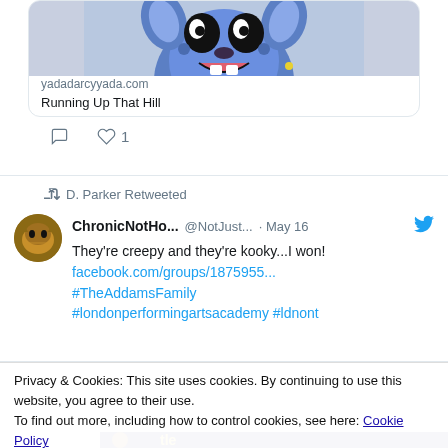[Figure (screenshot): Stitch cartoon character illustration shown in a tweet link preview card, partially cropped at top]
yadadarcyyada.com
Running Up That Hill
D. Parker Retweeted
ChronicNotHo...  @NotJust...  · May 16
They're creepy and they're kooky...I won!
facebook.com/groups/1875955...
#TheAddamsFamily
#londonperformingartsacademy #ldnont
Privacy & Cookies: This site uses cookies. By continuing to use this website, you agree to their use.
To find out more, including how to control cookies, see here: Cookie Policy
[Figure (screenshot): Bottom strip showing partial colorful image, appears to be a dark blue/gold graphic with yellow text]